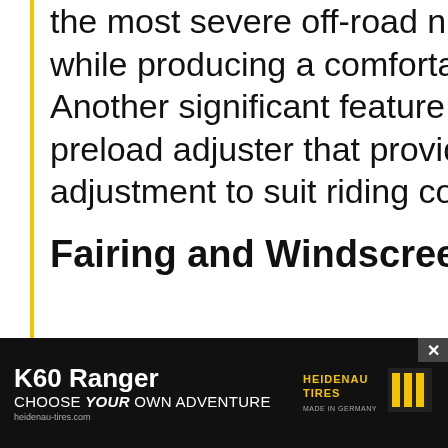the most severe off-road nut while producing a comfortab Another significant feature is preload adjuster that provide adjustment to suit riding con
Fairing and Windscree
[Figure (photo): Motorcycle fairing and windscreen viewed from above, sandy/dirt terrain background with green motorcycle elements visible]
[Figure (infographic): Heidenau K60 Ranger tire advertisement banner. Text: K60 Ranger, CHOOSE YOUR OWN ADVENTURE. Heidenau Tires logo. Made in Germany.]